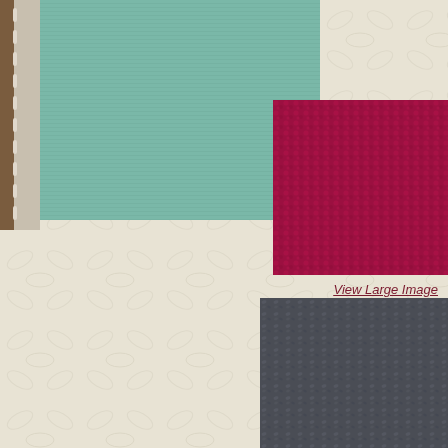[Figure (photo): Brown spiral-bound notebook spine on the far left edge]
[Figure (photo): Teal/sage green solid fabric swatch in upper left area]
[Figure (photo): Crimson/magenta textured fabric swatch with leaf pattern in upper right]
[Figure (photo): Cream embossed background with subtle oval/leaf swirl texture pattern filling most of the page]
View Large Image
[Figure (photo): Charcoal/dark gray fabric swatch with small leaf pattern in bottom right corner]